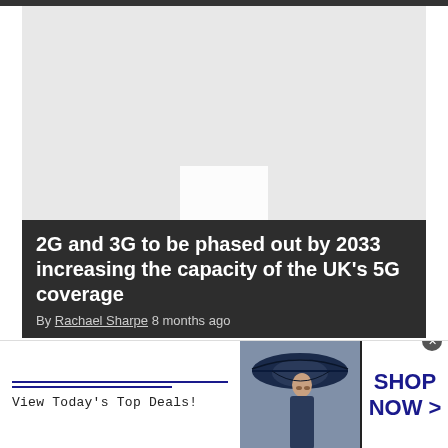[Figure (photo): Gray placeholder card with white image placeholder icon in center]
2G and 3G to be phased out by 2033 increasing the capacity of the UK's 5G coverage
By Rachael Sharpe 8 months ago
[Figure (photo): Gray placeholder card with white image placeholder icon in center]
[Figure (other): Bloomingdales advertisement banner: 'bloomingdales / View Today's Top Deals!' with woman in hat image and 'SHOP NOW >' button]